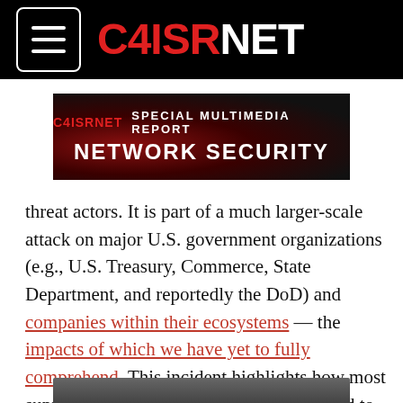C4ISRNET
[Figure (other): C4ISRNET Special Multimedia Report – Network Security banner]
threat actors. It is part of a much larger-scale attack on major U.S. government organizations (e.g., U.S. Treasury, Commerce, State Department, and reportedly the DoD) and companies within their ecosystems — the impacts of which we have yet to fully comprehend. This incident highlights how most supply chain organizations are not prepared to prevent these threats, as a CSO analysis outlined.
[Figure (photo): Partially visible image at the bottom of the page]